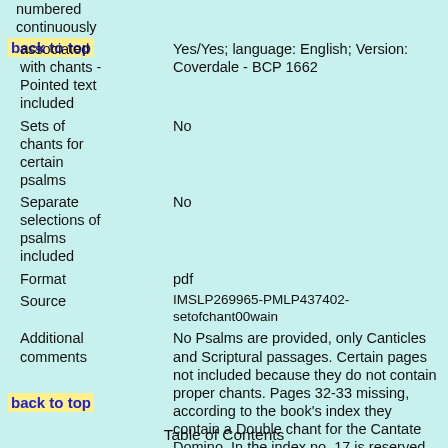numbered continuously
back to top
| associated with chants - Pointed text included | Yes/Yes; language: English; Version: Coverdale - BCP 1662 |
| Sets of chants for certain psalms | No |
| Separate selections of psalms included | No |
| Format | pdf |
| Source | IMSLP269965-PMLP437402-setofchant00wain |
| Additional comments | No Psalms are provided, only Canticles and Scriptural passages. Certain pages not included because they do not contain proper chants. Pages 32-33 missing, according to the book's index they contain a Double chant for the Cantate Domino. In the index no. 17 is reserved for this chant. |
back to top
Table of Contents